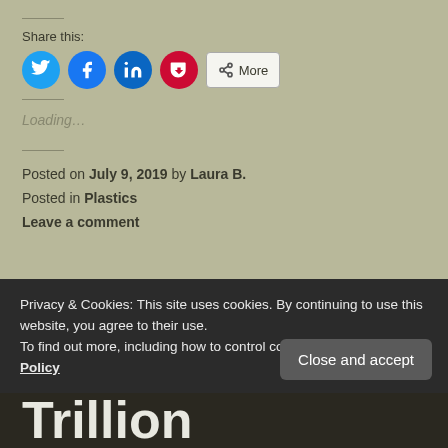Share this:
[Figure (screenshot): Social share buttons: Twitter (blue circle), Facebook (blue circle), LinkedIn (dark blue circle), Pocket (red circle), and a More button]
Loading...
Posted on July 9, 2019 by Laura B.
Posted in Plastics
Leave a comment
Privacy & Cookies: This site uses cookies. By continuing to use this website, you agree to their use.
To find out more, including how to control cookies, see here: Cookie Policy
Close and accept
Trillion